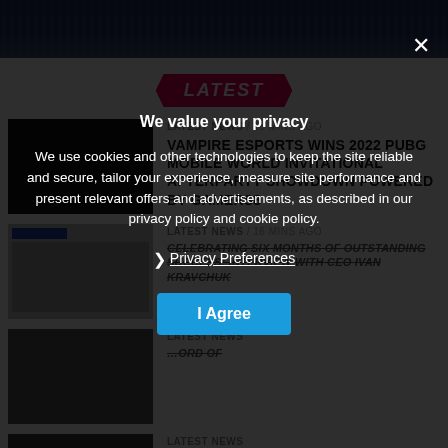[Figure (photo): Dark blue banner/header image at top of page]
LATEST
LATEST NEWS / 16 mins ago
VAMPIRE ESPORTS WINS 2022 PUBG MOBILE WORLD INVITATIONAL AFTERPARTY SHOWDOWN POWERED BY GAMERS8
LATEST NEWS / 16 mins ago
Celebrating six months of outstanding success: interview with CEO Ivan Kravchuk
LATEST NEWS / 16 mins ago
…ord of
LATEST NEWS
New PAGCOR board sworn into office
LATEST NEWS
AC MILAN OFFICIALLY JOINS KONAMI'S EFOOTBALL IN
We value your privacy

We use cookies and other technologies to keep the site reliable and secure, tailor your experience, measure site performance and present relevant offers and advertisements, as described in our privacy policy and cookie policy.

❯ Privacy Preferences

I Agree